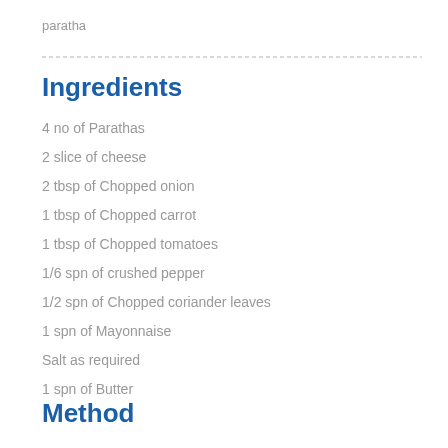paratha
Ingredients
4 no of Parathas
2 slice of cheese
2 tbsp of Chopped onion
1 tbsp of Chopped carrot
1 tbsp of Chopped tomatoes
1/6 spn of crushed pepper
1/2 spn of Chopped coriander leaves
1 spn of Mayonnaise
Salt as required
1 spn of Butter
Method